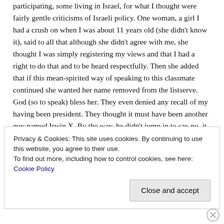participating, some living in Israel, for what I thought were fairly gentle criticisms of Israeli policy. One woman, a girl I had a crush on when I was about 11 years old (she didn't know it), said to all that although she didn't agree with me, she thought I was simply registering my views and that I had a right to do that and to be heard respectfully. Then she added that if this mean-spirited way of speaking to this classmate continued she wanted her name removed from the listserve. God (so to speak) bless her. They even denied any recall of my having been president. They thought it must have been another guy named Irwin X. By the way, he didn't jump in to say no, it wasn't him. At some point finally someone said he had hold of our
Privacy & Cookies: This site uses cookies. By continuing to use this website, you agree to their use.
To find out more, including how to control cookies, see here: Cookie Policy